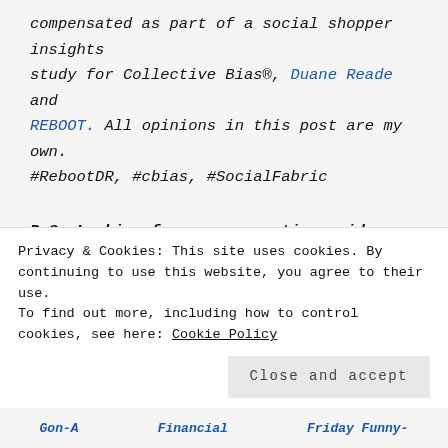compensated as part of a social shopper insights study for Collective Bias®, Duane Reade and REBOOT. All opinions in this post are my own. #RebootDR, #cbias, #SocialFabric
P.S. Looking for more parenting guidance and tips for self-care? Check out From Chaos to Calm a guided training to help you feel better in this tough season.
RELATED POSTS
Privacy & Cookies: This site uses cookies. By continuing to use this website, you agree to their use. To find out more, including how to control cookies, see here: Cookie Policy
Close and accept
Gon-A | Financial | Friday Funny-